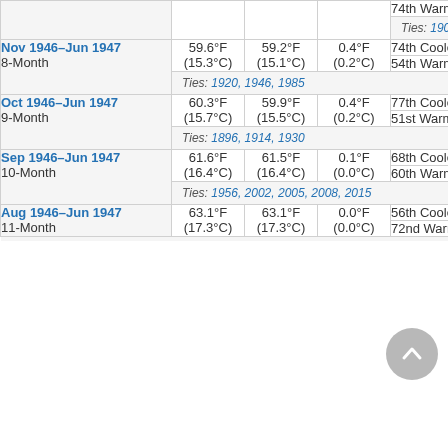| Period | Actual | Normal | Departure | Rank |  |
| --- | --- | --- | --- | --- | --- |
|  |  |  |  | 74th Warmest | W... |
| Ties: 1902, 1905, 1920 |  |  |  |  |  |
| Nov 1946–Jun 1947 8-Month | 59.6°F (15.3°C) | 59.2°F (15.1°C) | 0.4°F (0.2°C) | 74th Coolest | Co... |
|  |  |  |  | 54th Warmest | Wa... |
| Ties: 1920, 1946, 1985 |  |  |  |  |  |
| Oct 1946–Jun 1947 9-Month | 60.3°F (15.7°C) | 59.9°F (15.5°C) | 0.4°F (0.2°C) | 77th Coolest | Co... |
|  |  |  |  | 51st Warmest | Wa... |
| Ties: 1896, 1914, 1930 |  |  |  |  |  |
| Sep 1946–Jun 1947 10-Month | 61.6°F (16.4°C) | 61.5°F (16.4°C) | 0.1°F (0.0°C) | 68th Coolest | Co... |
|  |  |  |  | 60th Warmest | Wa... |
| Ties: 1956, 2002, 2005, 2008, 2015 |  |  |  |  |  |
| Aug 1946–Jun 1947 11-Month | 63.1°F (17.3°C) | 63.1°F (17.3°C) | 0.0°F (0.0°C) | 56th Coolest | Co... |
|  |  |  |  | 72nd Warmest | Wa... |